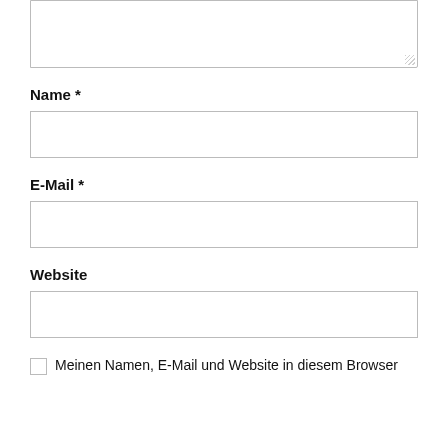[Figure (other): A textarea input field (comment box), partially visible at top of page, with resize handle at bottom-right.]
Name *
[Figure (other): Text input field for Name]
E-Mail *
[Figure (other): Text input field for E-Mail]
Website
[Figure (other): Text input field for Website]
Meinen Namen, E-Mail und Website in diesem Browser